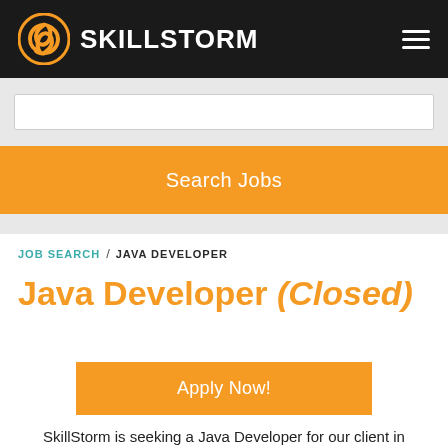SkillStorm
Search Jobs
JOB SEARCH / JAVA DEVELOPER
Java Developer (Closed)
Apply Now!
SkillStorm is seeking a Java Developer for our client in Jersey City, NJ OR Richardson, TX OR Charlotte, NC,